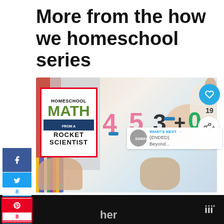More from the how we homeschool series
[Figure (photo): Hands of children doing finger counting math with colorful foam numbers and letters on a white surface. A homeschool math logo overlay reads: HOMESCHOOL MATH FROM A ROCKET SCIENTIST. Social sharing sidebar on the left with Facebook, Twitter (8), Pinterest (8), heart (1), email, LinkedIn buttons and 16 SHARES at bottom. Right side floating heart button, count 19, and share button. Bottom-right corner shows 'WHAT'S NEXT → (ENDED) Beyond...' overlay.]
Homeschool Help from a